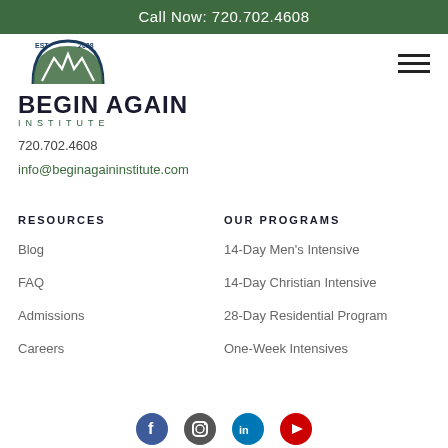Call Now: 720.702.4608
[Figure (logo): Begin Again Institute logo with mountain/arch graphic, EST 2008, INSTITUTE text]
720.702.4608
info@beginagaininstitute.com
RESOURCES
OUR PROGRAMS
Blog
14-Day Men's Intensive
FAQ
14-Day Christian Intensive
Admissions
28-Day Residential Program
Careers
One-Week Intensives
[Figure (illustration): Social media icons: Facebook, Instagram, LinkedIn, YouTube]